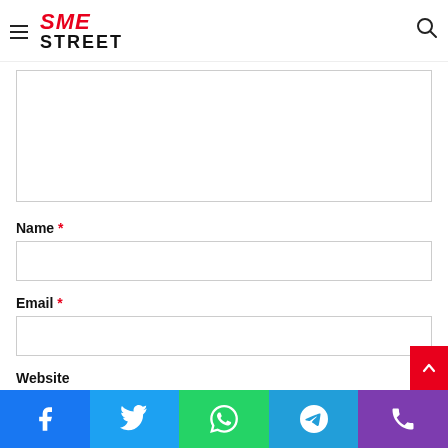SME STREET
Name *
Email *
Website
Facebook | Twitter | WhatsApp | Telegram | Phone